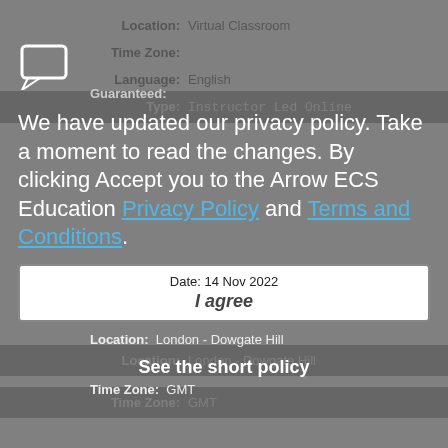Location: Virtual Classroom
Time Zone:
Language: English
Type: Instructor Led Online
[Figure (illustration): Chat/speech bubble icon]
Guaranteed:
We have updated our privacy policy. Take a moment to read the changes. By clicking Accept you to the Arrow ECS Education Privacy Policy and Terms and Conditions.
Date: 14 Nov 2022
I agree
Location: London - Dowgate Hill
See the short policy
Time Zone: GMT